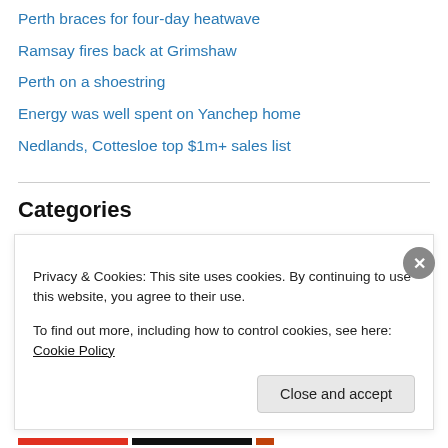Perth braces for four-day heatwave
Ramsay fires back at Grimshaw
Perth on a shoestring
Energy was well spent on Yanchep home
Nedlands, Cottesloe top $1m+ sales list
Categories
ALL news
Cost of Living
Immigration News
Jobs and careers
Living in Perth
Privacy & Cookies: This site uses cookies. By continuing to use this website, you agree to their use.
To find out more, including how to control cookies, see here: Cookie Policy
Close and accept